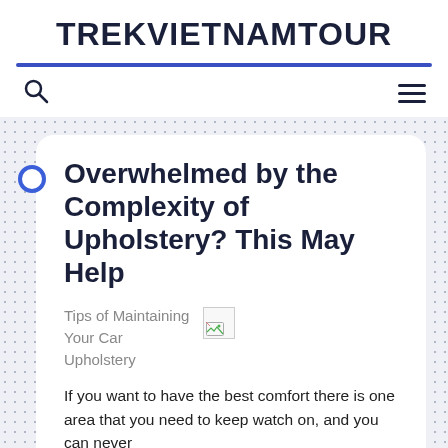TREKVIETNAMTOUR
[Figure (screenshot): Website screenshot showing the TREKVIETNAMTOUR blog page with a search icon on the left and hamburger menu on the right in the navigation bar.]
Overwhelmed by the Complexity of Upholstery? This May Help
Tips of Maintaining Your Car Upholstery
[Figure (photo): Broken image placeholder icon]
If you want to have the best comfort there is one area that you need to keep watch on, and you can never